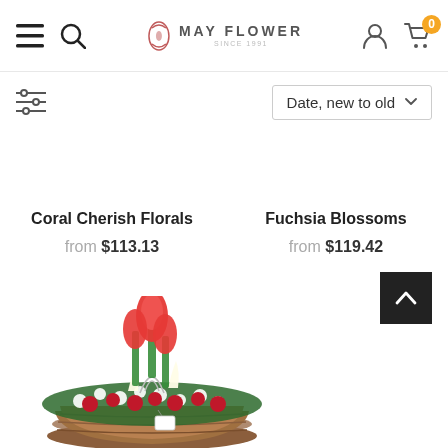May Flower — navigation header with hamburger menu, search, logo, account, and cart (0 items)
Date, new to old (sort dropdown)
Coral Cherish Florals — from $113.13
Fuchsia Blossoms — from $119.42
[Figure (photo): Flower basket arrangement with red roses, white daisies, and tall red tulips in a wicker basket]
[Figure (other): Back to top arrow button (white chevron on black background)]